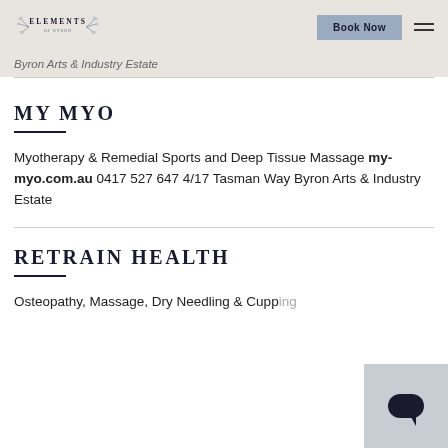Elements of Byron — Book Now
Byron Arts & Industry Estate
MY MYO
Myotherapy & Remedial Sports and Deep Tissue Massage my-myo.com.au 0417 527 647 4/17 Tasman Way Byron Arts & Industry Estate
RETRAIN HEALTH
Osteopathy, Massage, Dry Needling & Cupping